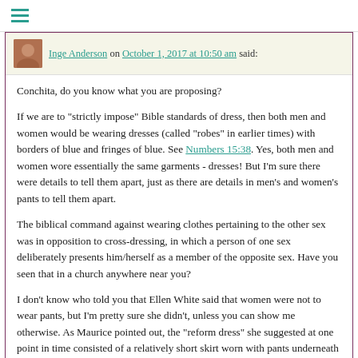≡
Inge Anderson on October 1, 2017 at 10:50 am said:
Conchita, do you know what you are proposing?

If we are to "strictly impose" Bible standards of dress, then both men and women would be wearing dresses (called "robes" in earlier times) with borders of blue and fringes of blue. See Numbers 15:38. Yes, both men and women wore essentially the same garments - dresses! But I'm sure there were details to tell them apart, just as there are details in men's and women's pants to tell them apart.

The biblical command against wearing clothes pertaining to the other sex was in opposition to cross-dressing, in which a person of one sex deliberately presents him/herself as a member of the opposite sex. Have you seen that in a church anywhere near you?

I don't know who told you that Ellen White said that women were not to wear pants, but I'm pretty sure she didn't, unless you can show me otherwise. As Maurice pointed out, the "reform dress" she suggested at one point in time consisted of a relatively short skirt worn with pants underneath for modesty. Later, when fashions had changed to something more practical, she said the "reform dress" was no longer